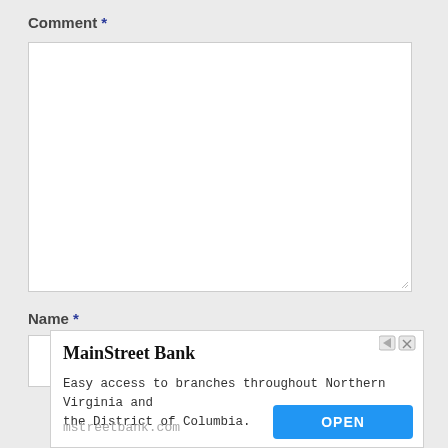Comment *
[Figure (screenshot): Empty comment textarea input field with resize handle]
Name *
[Figure (screenshot): Empty name text input field]
[Figure (infographic): Advertisement banner for MainStreet Bank. Title: MainStreet Bank. Body: Easy access to branches throughout Northern Virginia and the District of Columbia. URL: mstreetbank.com. Button: OPEN]